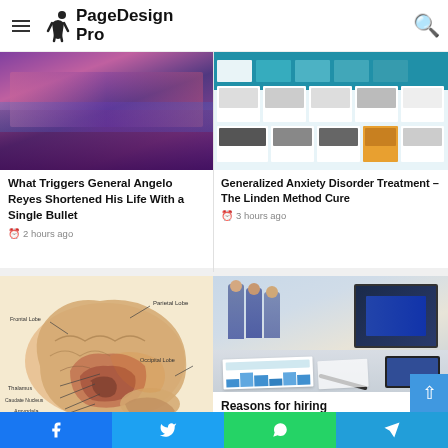PageDesign Pro
[Figure (photo): Concert crowd photo with purple/pink stage lighting]
What Triggers General Angelo Reyes Shortened His Life With a Single Bullet
2 hours ago
[Figure (screenshot): Screenshot of online course page with teal color scheme and course thumbnails]
Generalized Anxiety Disorder Treatment – The Linden Method Cure
3 hours ago
[Figure (illustration): Medical illustration of human brain with labeled lobes: Parietal Lobe, Frontal Lobe, Occipital Lobe, Thalamus, Caudate Nucleus, Amygdala, Hypothalamus, Pituitary Gland, Cerebellum]
[Figure (photo): Business office photo with people standing at a presentation and charts/graphs on desk]
Reasons for hiring